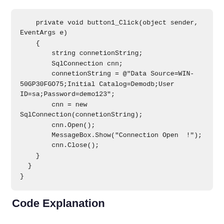private void button1_Click(object sender, EventArgs e)
    {
        string connetionString;
        SqlConnection cnn;
        connetionString = @"Data Source=WIN-50GP30FGO75;Initial Catalog=Demodb;User ID=sa;Password=demo123";
        cnn = new SqlConnection(connetionString);
        cnn.Open();
        MessageBox.Show("Connection Open  !");
        cnn.Close();
    }
  }
}
Code Explanation